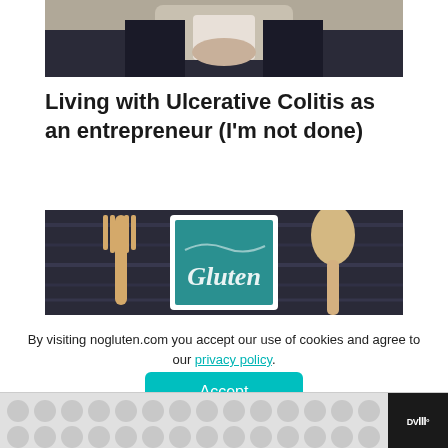[Figure (photo): Person in dark suit sitting in chair, hands clasped over abdomen area]
Living with Ulcerative Colitis as an entrepreneur (I'm not done)
[Figure (photo): Wooden fork and spoon with a teal chalkboard showing the word 'Gluten', set on a dark wooden surface]
By visiting nogluten.com you accept our use of cookies and agree to our privacy policy.
Accept
[Figure (logo): Bottom bar with circular pattern and DVR logo on dark background]